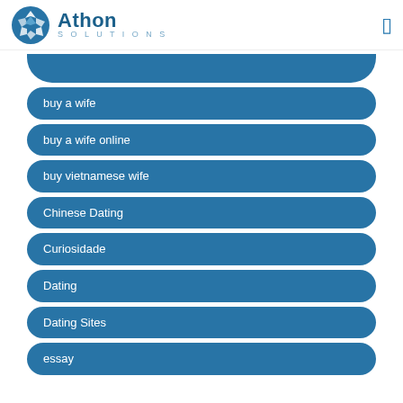Athon Solutions
buy a wife
buy a wife online
buy vietnamese wife
Chinese Dating
Curiosidade
Dating
Dating Sites
essay